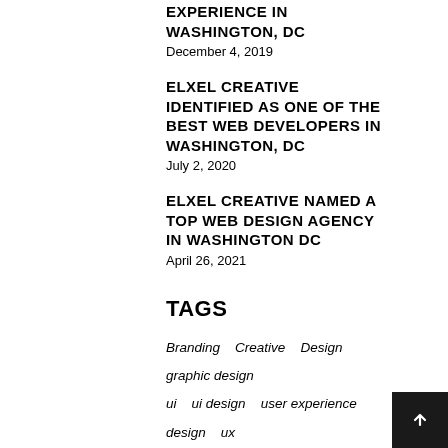EXPERIENCE IN WASHINGTON, DC
December 4, 2019
ELXEL CREATIVE IDENTIFIED AS ONE OF THE BEST WEB DEVELOPERS IN WASHINGTON, DC
July 2, 2020
ELXEL CREATIVE NAMED A TOP WEB DESIGN AGENCY IN WASHINGTON DC
April 26, 2021
TAGS
Branding
Creative
Design
graphic design
ui
ui design
user experience design
ux
ux design
web design
web development
website design
website development